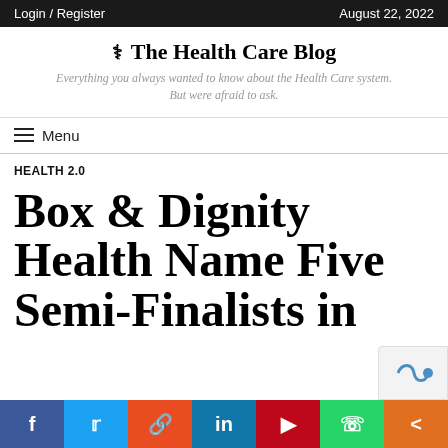Login / Register | August 22, 2022
The Health Care Blog
Everything you always wanted to know about the Health Care system. But were afraid to ask.
Menu
HEALTH 2.0
Box & Dignity Health Name Five Semi-Finalists in